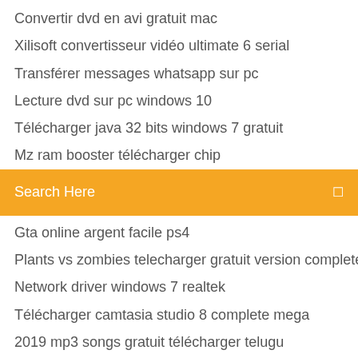Convertir dvd en avi gratuit mac
Xilisoft convertisseur vidéo ultimate 6 serial
Transférer messages whatsapp sur pc
Lecture dvd sur pc windows 10
Télécharger java 32 bits windows 7 gratuit
Mz ram booster télécharger chip
[Figure (screenshot): Orange search bar with text 'Search Here' and a search icon on the right]
Gta online argent facile ps4
Plants vs zombies telecharger gratuit version complete pc
Network driver windows 7 realtek
Télécharger camtasia studio 8 complete mega
2019 mp3 songs gratuit télécharger telugu
Telecharger waze pour windows 10
Google chrome for mac os 10.6.8
Appli orange ligue 1
The walking dead season 1 pc full
Faire lire un texte par lordinateur windows 7
Jeux gratuit en ligne everdome simulator